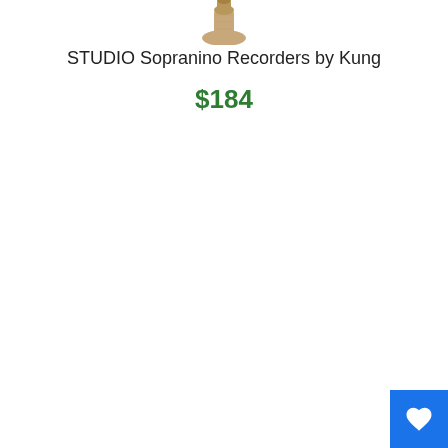[Figure (photo): Partial view of a wooden soprano/sopranino recorder instrument, showing the top/mouthpiece end, cropped at the top of the page]
STUDIO Sopranino Recorders by Kung
$184
[Figure (other): Blue square button with a white heart icon in the bottom-right corner of the page]